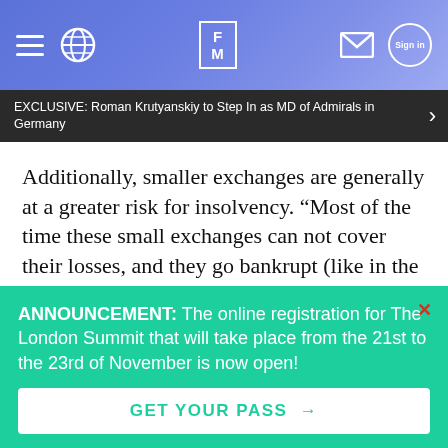FM (Finance Magnates) — Header navigation with hamburger menu, globe icon, FM logo, envelope icon, and sign in button
EXCLUSIVE: Roman Krutyanskiy to Step In as MD of Admirals in Germany
Additionally, smaller exchanges are generally at a greater risk for insolvency. “Most of the time these small exchanges can not cover their losses, and they go bankrupt (like in the Youbit case),” says Priel.
ANNOUNCEMENT: The online registration for The London Summit that will take place from the 21st to the 23rd of November is now open!
GET YOUR PASS →